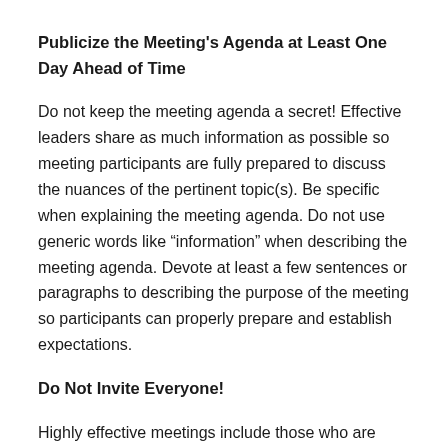Publicize the Meeting's Agenda at Least One Day Ahead of Time
Do not keep the meeting agenda a secret! Effective leaders share as much information as possible so meeting participants are fully prepared to discuss the nuances of the pertinent topic(s). Be specific when explaining the meeting agenda. Do not use generic words like “information” when describing the meeting agenda. Devote at least a few sentences or paragraphs to describing the purpose of the meeting so participants can properly prepare and establish expectations.
Do Not Invite Everyone!
Highly effective meetings include those who are critical to the matters of discussion. Do not invite administrators, clerks and